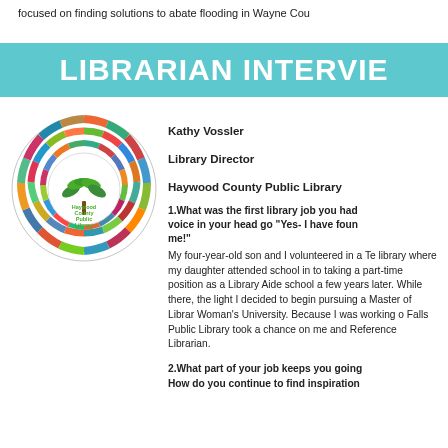focused on finding solutions to abate flooding in Wayne Cou
LIBRARIAN INTERVIE
Kathy Vossler
Library Director
Haywood County Public Library
[Figure (logo): Haywood County Public Library circular logo made of colorful book spines arranged in concentric rings with a green tree and text in the center]
1.What was the first library job you had voice in your head go "Yes- I have foun me!"
My four-year-old son and I volunteered in a Te library where my daughter attended school in to taking a part-time position as a Library Aide school a few years later. While there, the light I decided to begin pursuing a Master of Librar Woman's University. Because I was working o Falls Public Library took a chance on me and Reference Librarian.
2.What part of your job keeps you going How do you continue to find inspiration